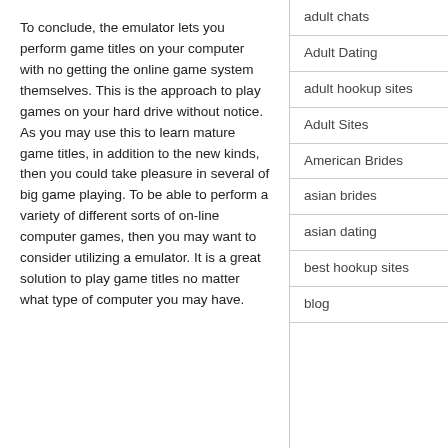To conclude, the emulator lets you perform game titles on your computer with no getting the online game system themselves. This is the approach to play games on your hard drive without notice. As you may use this to learn mature game titles, in addition to the new kinds, then you could take pleasure in several of big game playing. To be able to perform a variety of different sorts of on-line computer games, then you may want to consider utilizing a emulator. It is a great solution to play game titles no matter what type of computer you may have.
adult chats
Adult Dating
adult hookup sites
Adult Sites
American Brides
asian brides
asian dating
best hookup sites
blog